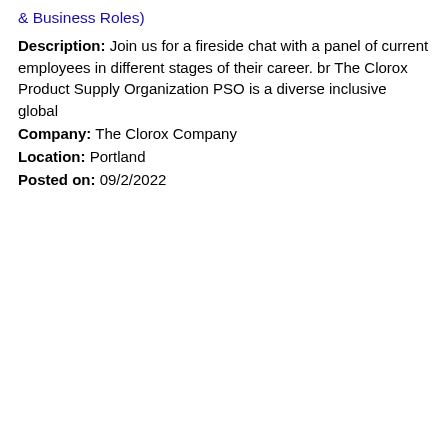& Business Roles)
Description: Join us for a fireside chat with a panel of current employees in different stages of their career. br The Clorox Product Supply Organization PSO is a diverse inclusive global
Company: The Clorox Company
Location: Portland
Posted on: 09/2/2022